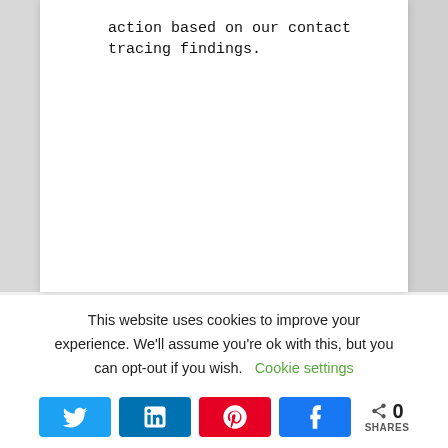action based on our contact tracing findings.
This website uses cookies to improve your experience. We'll assume you're ok with this, but you can opt-out if you wish. Cookie settings
[Figure (infographic): Social media share buttons row: Twitter (blue), LinkedIn (dark blue), Pinterest (red), Facebook (blue), followed by share count showing 0 SHARES]